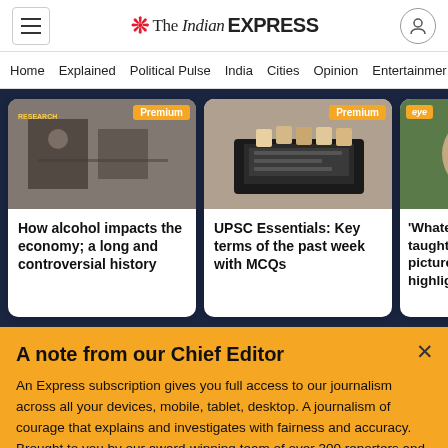The Indian EXPRESS
Home  Explained  Political Pulse  India  Cities  Opinion  Entertainment
[Figure (screenshot): Article card: 'How alcohol impacts the economy; a long and controversial history' with Premium badge and historical black-and-white interior photo]
[Figure (screenshot): Article card: 'UPSC Essentials: Key terms of the past week with MCQs' with Premium badge and photo of hands on laptop keyboard]
[Figure (screenshot): Article card partially visible: 'Whatever history taught, it was the picture he highlighted': Na... with eye magazine badge and photo of older man with glasses]
A note from our Chief Editor
An Express subscription gives you full access to our journalism across all your devices, mobile, tablet, desktop. A journalism of courage that explains and investigates with fairness and accuracy. Brought to you by our award-winning team of over 300 reporters and editors across the country. Including a team of top domain experts who explain news as it breaks, columnists who